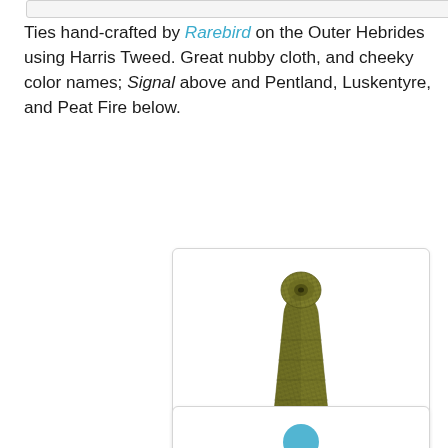Ties hand-crafted by Rarebird on the Outer Hebrides using Harris Tweed. Great nubby cloth, and cheeky color names; Signal above and Pentland, Luskentyre, and Peat Fire below.
[Figure (photo): A rolled Harris Tweed tie in olive/khaki herringbone tweed texture, shown with the wide end pointing downward and the narrow end curled at the top into a roll, displayed against a white background inside a light-bordered card.]
[Figure (photo): Partial view of another tie card at the bottom of the page, showing only the top portion with a teal/blue circular element visible.]